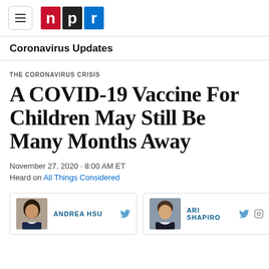NPR
Coronavirus Updates
THE CORONAVIRUS CRISIS
A COVID-19 Vaccine For Children May Still Be Many Months Away
November 27, 2020 · 8:00 AM ET
Heard on All Things Considered
ANDREA HSU | ARI SHAPIRO